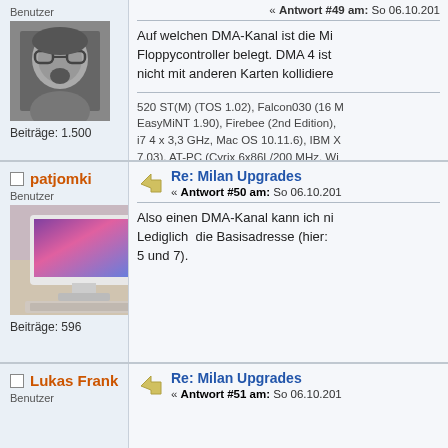Benutzer
[Figure (photo): Black and white avatar photo of a person with glasses and open mouth]
Beiträge: 1.500
« Antwort #49 am: So 06.10.201...
Auf welchen DMA-Kanal ist die Mi... Floppycontroller belegt. DMA 4 ist... nicht mit anderen Karten kollidiere...
520 ST(M) (TOS 1.02), Falcon030 (16 M... EasyMiNT 1.90), Firebee (2nd Edition),... i7 4 x 3,3 GHz, Mac OS 10.11.6), IBM X... 7.03), AT-PC (Cyrix 6x86L/200 MHz, Wi...
patjomki
Benutzer
[Figure (photo): Color avatar showing an old Atari computer with a monitor displaying a colorful desktop]
Beiträge: 596
Re: Milan Upgrades
« Antwort #50 am: So 06.10.201...
Also einen DMA-Kanal kann ich ni... Lediglich die Basisadresse (hier: ... 5 und 7).
Lukas Frank
Benutzer
Re: Milan Upgrades
« Antwort #51 am: So 06.10.201...